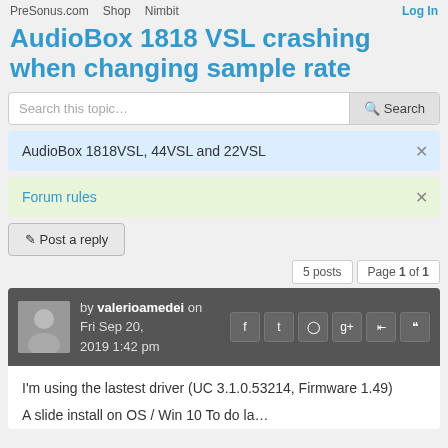PreSonus.com  Shop  Nimbit  Log In
AudioBox 1818 VSL crashing when changing sample rate
Search this topic…  Search
AudioBox 1818VSL, 44VSL and 22VSL ×
Forum rules ×
✏ Post a reply
5 posts  Page 1 of 1
by valerioamedei on Fri Sep 20, 2019 1:42 pm
I'm using the lastest driver (UC 3.1.0.53214, Firmware 1.49)